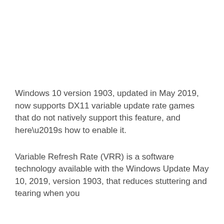Windows 10 version 1903, updated in May 2019, now supports DX11 variable update rate games that do not natively support this feature, and here’s how to enable it.
Variable Refresh Rate (VRR) is a software technology available with the Windows Update May 10, 2019, version 1903, that reduces stuttering and tearing when you